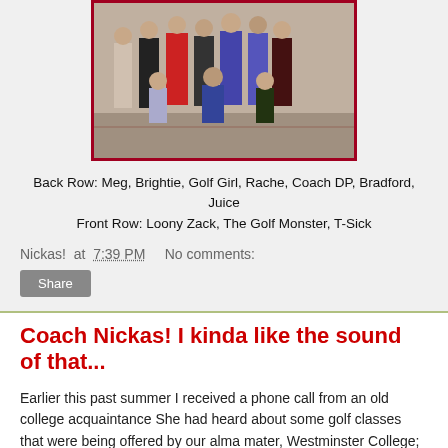[Figure (photo): Group photo of golf team members, some standing in back row and some crouching in front row, outdoors.]
Back Row: Meg, Brightie, Golf Girl, Rache, Coach DP, Bradford, Juice
Front Row: Loony Zack, The Golf Monster, T-Sick
Nickas! at 7:39 PM    No comments:
Share
Coach Nickas! I kinda like the sound of that...
Earlier this past summer I received a phone call from an old college acquaintance She had heard about some golf classes that were being offered by our alma mater, Westminster College; and was wondering if I was the one they had tabbed to teach them. I wasn't even aware they were teaching classes down there. Now, I do teach some classes at the University of Utah, but up